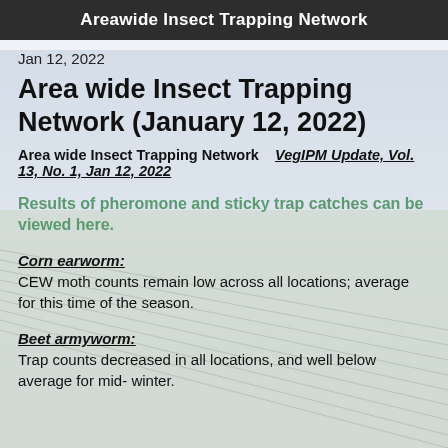Areawide Insect Trapping Network
Jan 12, 2022
Area wide Insect Trapping Network (January 12, 2022)
Area wide Insect Trapping Network   VegIPM Update, Vol. 13, No. 1, Jan 12, 2022
Results of pheromone and sticky trap catches can be viewed here.
Corn earworm:
CEW moth counts remain low across all locations; average for this time of the season.
Beet armyworm:
Trap counts decreased in all locations, and well below average for mid- winter.